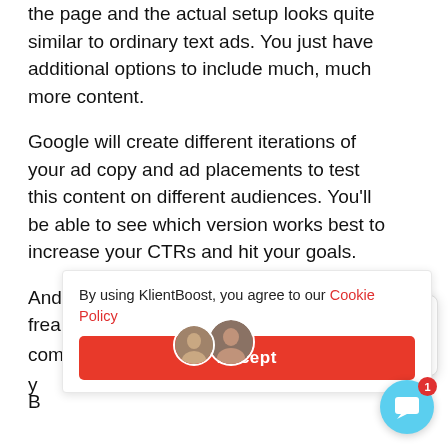the page and the actual setup looks quite similar to ordinary text ads. You just have additional options to include much, much more content.
Google will create different iterations of your ad copy and ad placements to test this content on different audiences. You'll be able to see which version works best to increase your CTRs and hit your goals.
And before you start frea computers taking y y
B
[Figure (screenshot): KlientBoost chat popup widget showing brand name and message 'Hey there, we're seeing some marketing...' with two avatar photos]
[Figure (screenshot): Cookie consent bar with text 'By using KlientBoost, you agree to our Cookie Policy' and red Accept button, plus chat bubble icon with badge showing 1]